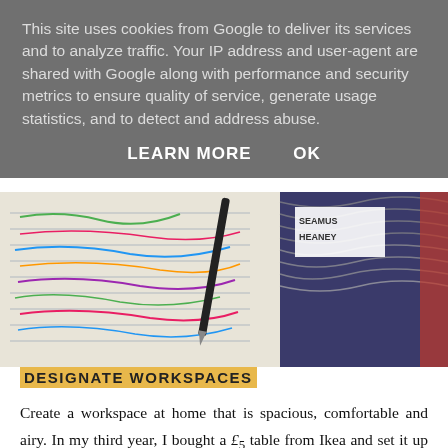This site uses cookies from Google to deliver its services and to analyze traffic. Your IP address and user-agent are shared with Google along with performance and security metrics to ensure quality of service, generate usage statistics, and to detect and address abuse.
LEARN MORE    OK
[Figure (photo): Photo of open notebooks with handwritten notes in multiple colors and a book with 'SEAMUS HEANEY' visible on its cover]
DESIGNATE WORKSPACES
Create a workspace at home that is spacious, comfortable and airy. In my third year, I bought a £5 table from Ikea and set it up by a bay window that offered lots of light and encouraged me to work efficiently. It gave me enough space to spread my